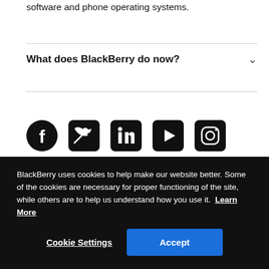software and phone operating systems.
What does BlackBerry do now?
[Figure (illustration): Row of social media icons: Facebook, Twitter, LinkedIn, YouTube, Instagram]
BlackBerry uses cookies to help make our website better. Some of the cookies are necessary for proper functioning of the site, while others are to help us understand how you use it. Learn More
Cookie Settings
Accept